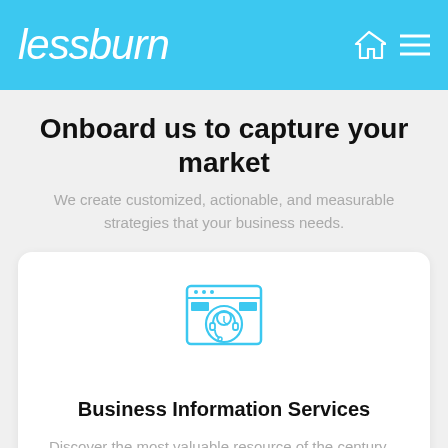lessburn
Onboard us to capture your market
We create customized, actionable, and measurable strategies that your business needs.
[Figure (illustration): Icon of a person wearing a headset in front of a computer/browser window, rendered in sky blue outline style]
Business Information Services
Discover the most valuable resource of the century - Data! We are a frontrunner in offering team of market researchers to source, validate, and enrich the business information through “hand-curated”